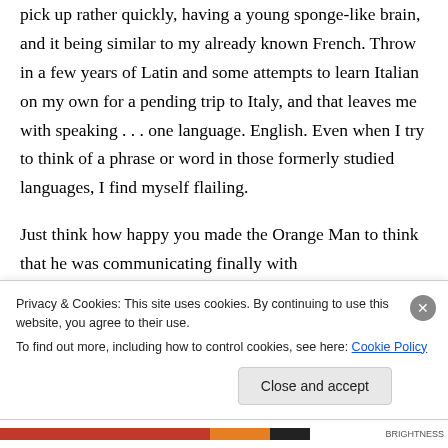pick up rather quickly, having a young sponge-like brain, and it being similar to my already known French. Throw in a few years of Latin and some attempts to learn Italian on my own for a pending trip to Italy, and that leaves me with speaking . . . one language. English. Even when I try to think of a phrase or word in those formerly studied languages, I find myself flailing.
Just think how happy you made the Orange Man to think that he was communicating finally with
Privacy & Cookies: This site uses cookies. By continuing to use this website, you agree to their use.
To find out more, including how to control cookies, see here: Cookie Policy